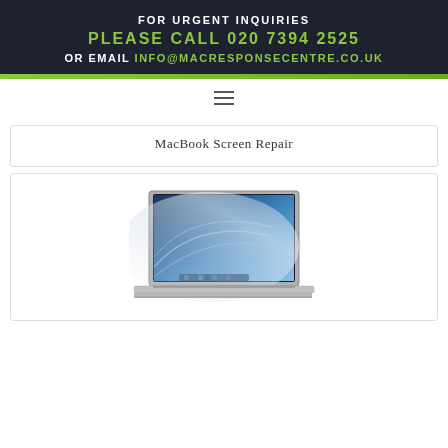FOR URGENT INQUIRIES PLEASE CALL 020 7394 2525 OR EMAIL INFO@MACRESPONSECENTRE.CO.UK
[Figure (other): Hamburger menu icon (three horizontal lines)]
MacBook Screen Repair
[Figure (photo): MacBook Air laptop with mountain lion desktop wallpaper screen]